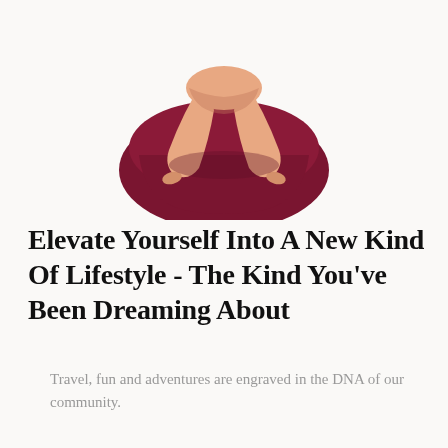[Figure (illustration): Illustration of a person with skin-tone body sitting cross-legged on a dark red/maroon cushion or bean bag, shown from waist down, with legs and bare feet visible.]
Elevate Yourself Into A New Kind Of Lifestyle - The Kind You've Been Dreaming About
Travel, fun and adventures are engraved in the DNA of our community.